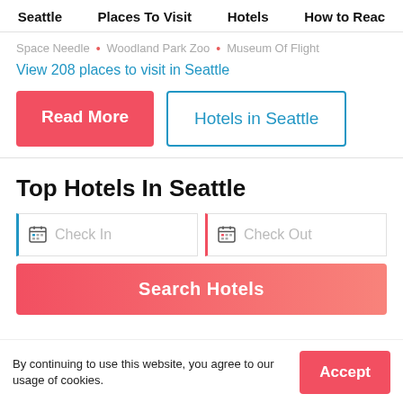Seattle  Places To Visit  Hotels  How to Reac
Space Needle • Woodland Park Zoo • Museum Of Flight
View 208 places to visit in Seattle
Read More
Hotels in Seattle
Top Hotels In Seattle
Check In
Check Out
Search Hotels
By continuing to use this website, you agree to our usage of cookies.
Accept